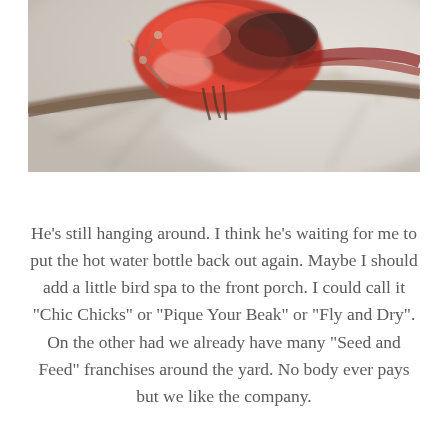[Figure (photo): Close-up photograph of a red cardinal bird perched on a bare tree branch. The bird is predominantly bright red/crimson with dark wing markings. The background is blurred and light-toned with soft bokeh of winter branches.]
He's still hanging around. I think he's waiting for me to put the hot water bottle back out again. Maybe I should add a little bird spa to the front porch. I could call it "Chic Chicks" or "Pique Your Beak" or "Fly and Dry". On the other had we already have many "Seed and Feed" franchises around the yard. No body ever pays but we like the company.